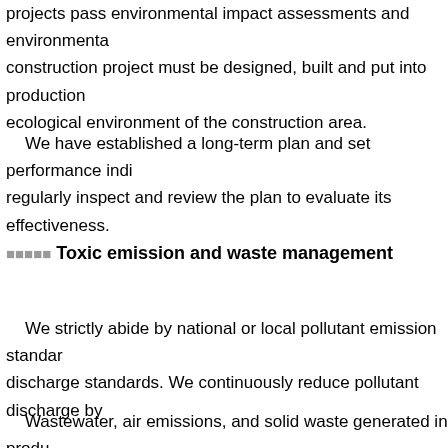projects pass environmental impact assessments and environmental construction project must be designed, built and put into production ecological environment of the construction area.
[Chinese text line]
We have established a long-term plan and set performance indicators. We regularly inspect and review the plan to evaluate its effectiveness.
[Chinese characters] Toxic emission and waste management
[Chinese text line]
We strictly abide by national or local pollutant emission standards and discharge standards. We continuously reduce pollutant discharge by
[Chinese text line]
Wastewater, air emissions, and solid waste generated in production receive treatment and disposal by an entrusted third-party. Every year, we have pollutants such as air emissions, wastewater discharges, and noise